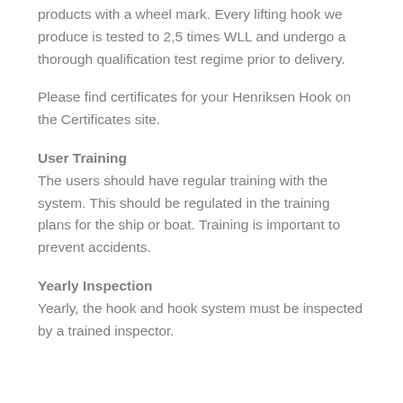products with a wheel mark. Every lifting hook we produce is tested to 2,5 times WLL and undergo a thorough qualification test regime prior to delivery.
Please find certificates for your Henriksen Hook on the Certificates site.
User Training
The users should have regular training with the system. This should be regulated in the training plans for the ship or boat. Training is important to prevent accidents.
Yearly Inspection
Yearly, the hook and hook system must be inspected by a trained inspector.